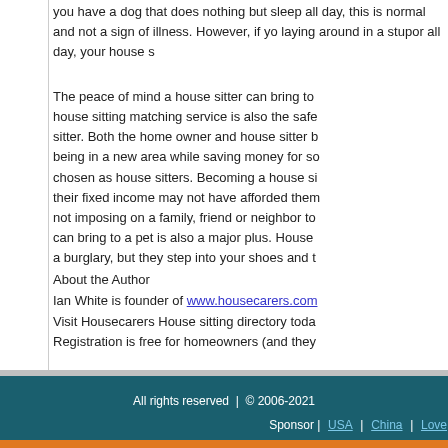you have a dog that does nothing but sleep all day, this is normal and not a sign of illness. However, if your dog is laying around in a stupor all day, your house s
The peace of mind a house sitter can bring to house sitting matching service is also the safe sitter. Both the home owner and house sitter b being in a new area while saving money for so chosen as house sitters. Becoming a house si their fixed income may not have afforded them not imposing on a family, friend or neighbor to can bring to a pet is also a major plus. House a burglary, but they step into your shoes and t
About the Author
Ian White is founder of www.housecarers.com
Visit Housecarers House sitting directory toda
Registration is free for homeowners (and they
All rights reserved  |  © 2006-2021
Sponsor |  USA  |  China  |  Love